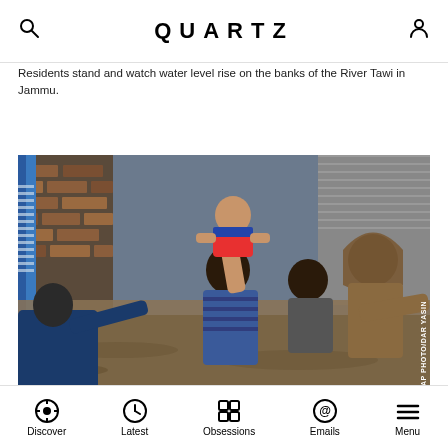QUARTZ
Residents stand and watch water level rise on the banks of the River Tawi in Jammu.
[Figure (photo): Kashmiri men wading through floodwater, one holding a child up to safety, another man reaching out. Flooded neighborhood street in Srinagar. Credit: AP PHOTO/DAR YASIN]
Kashmiri men carry a boy to safety after their neighborhood was flooded in Srinagar.
Discover  Latest  Obsessions  Emails  Menu